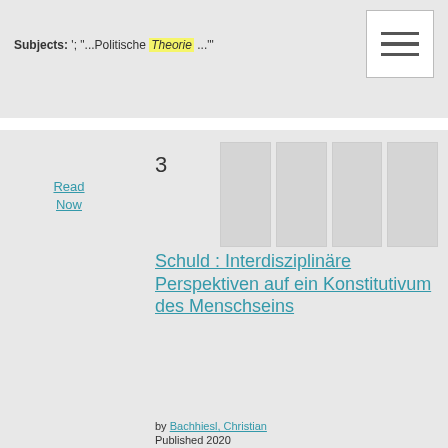Subjects: '; "...Politische Theorie ..."'
3
Read Now
Schuld : Interdisziplinäre Perspektiven auf ein Konstitutivum des Menschseins
by Bachhiesl, Christian
Published 2020
Velbrück Wissenschaft
Subjects: '; "... Theory  of art..."'